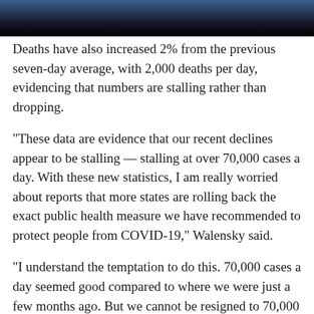[Figure (photo): Dark banner image at top of page with blue and black gradient, partial image of background visual]
Deaths have also increased 2% from the previous seven-day average, with 2,000 deaths per day, evidencing that numbers are stalling rather than dropping.
"These data are evidence that our recent declines appear to be stalling — stalling at over 70,000 cases a day. With these new statistics, I am really worried about reports that more states are rolling back the exact public health measure we have recommended to protect people from COVID-19," Walensky said.
"I understand the temptation to do this. 70,000 cases a day seemed good compared to where we were just a few months ago. But we cannot be resigned to 70,000 cases a day, 2,000 daily deaths," Walensky said.